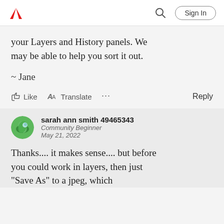Adobe | Sign In
your Layers and History panels. We may be able to help you sort it out.
~ Jane
Like   Translate   ...   Reply
sarah ann smith 49465343
Community Beginner
May 21, 2022
Thanks.... it makes sense.... but before you could work in layers, then just "Save As" to a jpeg, which